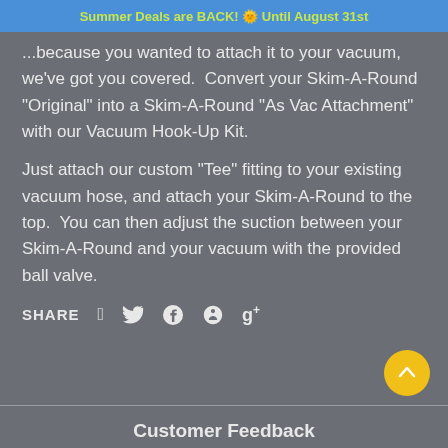Summer Deals are BACK! 🌞 Until August 31st
...because you wanted to attach it to your vacuum, we've got you covered.  Convert your Skim-A-Round "Original" into a Skim-A-Round "As Vac Attachment" with our Vacuum Hook-Up Kit.
Just attach our custom "Tee" fitting to your existing vacuum hose, and attach your Skim-A-Round to the top.  You can then adjust the suction between your Skim-A-Round and your vacuum with the provided ball valve.
SHARE
Customer Feedback